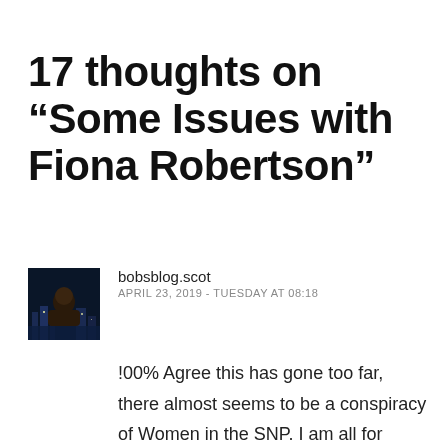17 thoughts on “Some Issues with Fiona Robertson”
bobsblog.scot
APRIL 23, 2019 - TUESDAY AT 08:18
!00% Agree this has gone too far, there almost seems to be a conspiracy of Women in the SNP. I am all for equality but there seems to me to be an